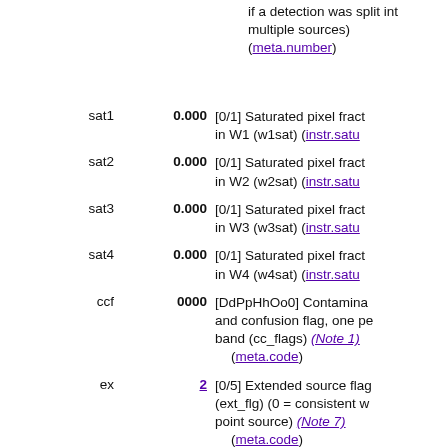if a detection was split into multiple sources) (meta.number)
| Name | Value | Description |
| --- | --- | --- |
| sat1 | 0.000 | [0/1] Saturated pixel fract in W1 (w1sat) (instr.satu… |
| sat2 | 0.000 | [0/1] Saturated pixel fract in W2 (w2sat) (instr.satu… |
| sat3 | 0.000 | [0/1] Saturated pixel fract in W3 (w3sat) (instr.satu… |
| sat4 | 0.000 | [0/1] Saturated pixel fract in W4 (w4sat) (instr.satu… |
| ccf | 0000 | [DdPpHhOo0] Contamination and confusion flag, one per band (cc_flags) (Note 1) (meta.code) |
| ex | 2 | [0/5] Extended source flag (ext_flg) (0 = consistent w point source) (Note 7) (meta.code) |
| var | 1nnn | Variability flag, one per band (Note 2) (meta.code;src.…) |
| nW1 | 87 | Frame detection count in W1 (w1nm) (Note 4) |